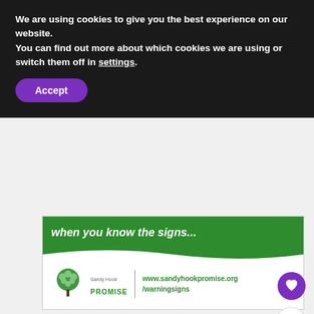We are using cookies to give you the best experience on our website.
You can find out more about which cookies we are using or switch them off in settings.
Accept
[Figure (screenshot): Sandy Hook Promise banner with green header showing italic text 'when you know the signs...' with wave bottom, logo with tree and text 'Sandy Hook PROMISE', URL www.sandyhookpromise.org/warningsigns]
[Figure (illustration): Purple circular heart/like button icon]
[Figure (illustration): White circular share button with share icon]
[Figure (screenshot): What's Next box with phone image thumbnail and text 'Reading Lately |...']
This year I decided to trade scrolling Instagram fo...